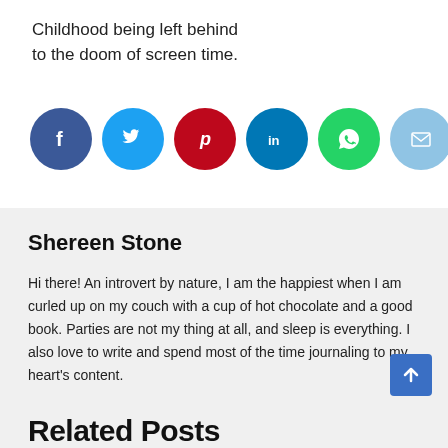Childhood being left behind to the doom of screen time.
[Figure (infographic): Six social sharing buttons in circles: Facebook (dark blue), Twitter (light blue), Pinterest (red), LinkedIn (dark teal), WhatsApp (green), Email (light blue)]
Shereen Stone
Hi there! An introvert by nature, I am the happiest when I am curled up on my couch with a cup of hot chocolate and a good book. Parties are not my thing at all, and sleep is everything. I also love to write and spend most of the time journaling to my heart's content.
View Author posts
Related Posts